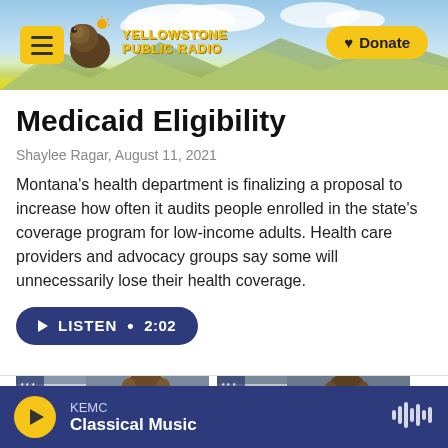[Figure (screenshot): Yellowstone Public Radio website header with menu button, bison logo, site name, and Donate button on a sky/landscape background]
Medicaid Eligibility
Shaylee Ragar,  August 11, 2021
Montana's health department is finalizing a proposal to increase how often it audits people enrolled in the state's coverage program for low-income adults. Health care providers and advocacy groups say some will unnecessarily lose their health coverage.
[Figure (other): LISTEN • 2:02 audio play button]
[Figure (photo): Two partial portrait photos of men with American flags in background]
KEMC  Classical Music